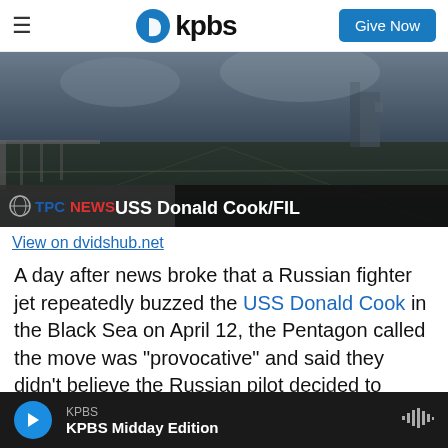KPBS — Give Now
[Figure (screenshot): Aerial/deck view of USS Donald Cook ship with TPC NEWS chyron overlay reading 'USS Donald Cook/FIL']
View on dvidshub.net
A day after news broke that a Russian fighter jet repeatedly buzzed the USS Donald Cook in the Black Sea on April 12, the Pentagon called the move was "provocative" and said they didn't believe the Russian pilot decided to make close-range
KPBS — KPBS Midday Edition